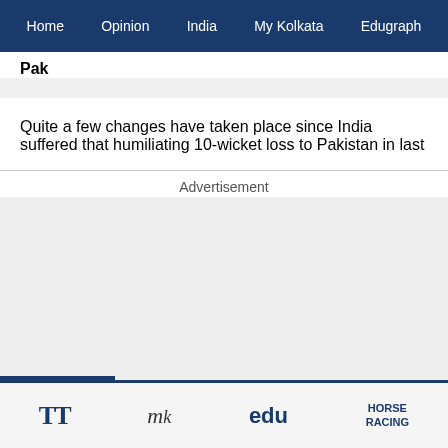Home  Opinion  India  My Kolkata  Edugraph
Pak
Quite a few changes have taken place since India suffered that humiliating 10-wicket loss to Pakistan in last
Advertisement
TT  My Kolkata  edu  HORSE RACING